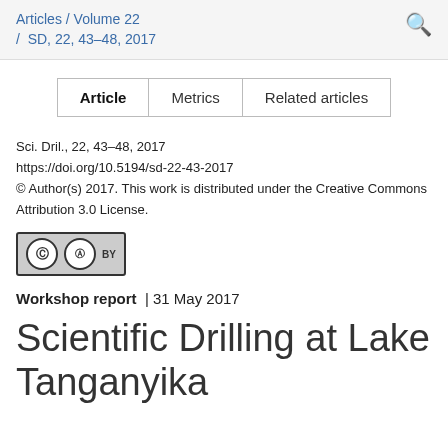Articles / Volume 22 / SD, 22, 43–48, 2017
| Article | Metrics | Related articles |
| --- | --- | --- |
Sci. Dril., 22, 43–48, 2017
https://doi.org/10.5194/sd-22-43-2017
© Author(s) 2017. This work is distributed under the Creative Commons Attribution 3.0 License.
[Figure (logo): Creative Commons Attribution (CC BY) license badge]
Workshop report  |  31 May 2017
Scientific Drilling at Lake Tanganyika